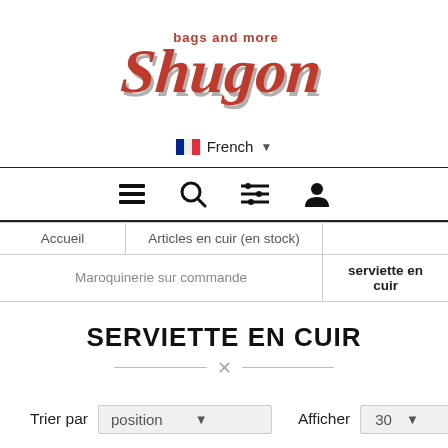[Figure (logo): Shugon bags and more logo in red italic script with grey shadow]
French (language selector with French flag)
[Figure (infographic): Navigation icon bar: hamburger menu, search, filter/sliders, user account icons]
Accueil | Articles en cuir (en stock) | Maroquinerie sur commande | serviette en cuir
SERVIETTE EN CUIR
Trier par position ▼   Afficher 30 ▼ par page